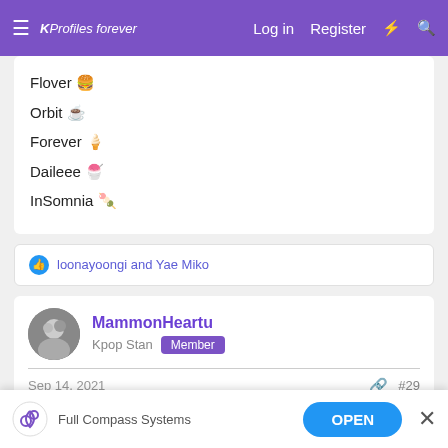KProfiles | Log in | Register
Flover 🍔
Orbit ☕
Forever 🍦
Daileee 🍧
InSomnia 🍡
👍 loonayoongi and Yae Miko
MammonHeartu
Kpop Stan | Member
Sep 14, 2021  #29
Atiny
Harling